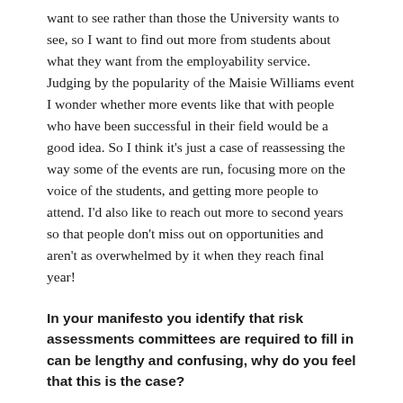want to see rather than those the University wants to see, so I want to find out more from students about what they want from the employability service. Judging by the popularity of the Maisie Williams event I wonder whether more events like that with people who have been successful in their field would be a good idea. So I think it's just a case of reassessing the way some of the events are run, focusing more on the voice of the students, and getting more people to attend. I'd also like to reach out more to second years so that people don't miss out on opportunities and aren't as overwhelmed by it when they reach final year!
In your manifesto you identify that risk assessments committees are required to fill in can be lengthy and confusing, why do you feel that this is the case?
I think part of the issue is that people don't know who to contact when they need help, so if elected I'd want to